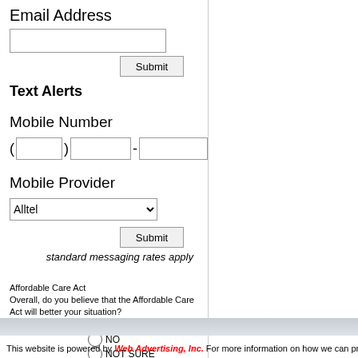Email Address
Submit
Text Alerts
Mobile Number
Mobile Provider
Alltel
Submit
standard messaging rates apply
Affordable Care Act
Overall, do you believe that the Affordable Care Act will better your situation?
YES
NO
NOT SURE
Vote   Results
This website is powered by Web Advertising, Inc. For more information on how we can provide you